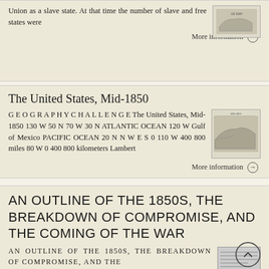Union as a slave state. At that time the number of slave and free states were
More information →
The United States, Mid-1850
G E O G R A P H Y C H A L L E N G E The United States, Mid-1850 130 W 50 N 70 W 30 N ATLANTIC OCEAN 120 W Gulf of Mexico PACIFIC OCEAN 20 N N W E S 0 110 W 400 800 miles 80 W 0 400 800 kilometers Lambert
[Figure (map): Small thumbnail map of the United States mid-1850]
More information →
AN OUTLINE OF THE 1850S, THE BREAKDOWN OF COMPROMISE, AND THE COMING OF THE WAR
AN OUTLINE OF THE 1850S, THE BREAKDOWN OF COMPROMISE, AND THE